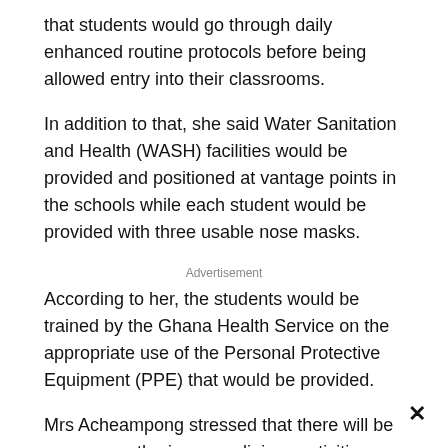that students would go through daily enhanced routine protocols before being allowed entry into their classrooms.
In addition to that, she said Water Sanitation and Health (WASH) facilities would be provided and positioned at vantage points in the schools while each student would be provided with three usable nose masks.
Advertisement
According to her, the students would be trained by the Ghana Health Service on the appropriate use of the Personal Protective Equipment (PPE) that would be provided.
Mrs Acheampong stressed that there will be no mass gathering, no religious activities, no sporting activities and no visitors during school hours.